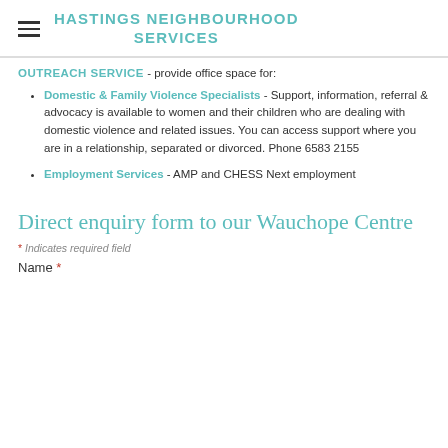HASTINGS NEIGHBOURHOOD SERVICES
OUTREACH SERVICE - provide office space for:
Domestic & Family Violence Specialists - Support, information, referral & advocacy is available to women and their children who are dealing with domestic violence and related issues. You can access support where you are in a relationship, separated or divorced. Phone 6583 2155
Employment Services - AMP and CHESS Next employment
Direct enquiry form to our Wauchope Centre
* Indicates required field
Name *